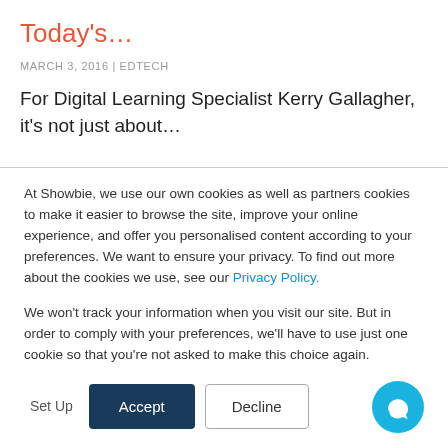Today's…
MARCH 3, 2016 | EDTECH
For Digital Learning Specialist Kerry Gallagher, it's not just about…
At Showbie, we use our own cookies as well as partners cookies to make it easier to browse the site, improve your online experience, and offer you personalised content according to your preferences. We want to ensure your privacy. To find out more about the cookies we use, see our Privacy Policy.
We won't track your information when you visit our site. But in order to comply with your preferences, we'll have to use just one cookie so that you're not asked to make this choice again.
Set Up  Accept  Decline